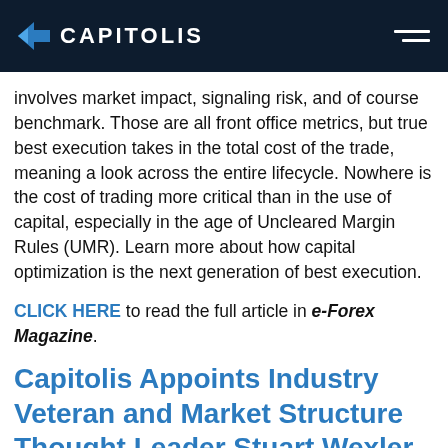CAPITOLIS
involves market impact, signaling risk, and of course benchmark. Those are all front office metrics, but true best execution takes in the total cost of the trade, meaning a look across the entire lifecycle. Nowhere is the cost of trading more critical than in the use of capital, especially in the age of Uncleared Margin Rules (UMR). Learn more about how capital optimization is the next generation of best execution.
CLICK HERE to read the full article in e-Forex Magazine.
Capitolis Appoints Industry Veteran and Market Structure Thought Leader Stuart Wexler as General Counsel Amid